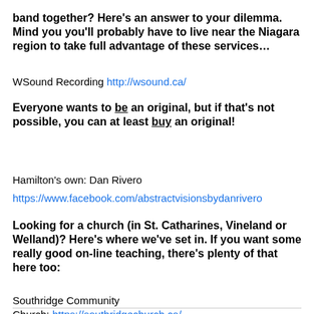band together?  Here's an answer to your dilemma.  Mind you you'll probably have to live near the Niagara region to take full advantage of these services…
WSound Recording http://wsound.ca/
Everyone wants to be an original, but if that's not possible, you can at least buy an original!
Hamilton's own: Dan Rivero
https://www.facebook.com/abstractvisionsbydanrivero
Looking for a church (in St. Catharines, Vineland or Welland)?  Here's where we've set in.  If you want some really good on-line teaching, there's plenty of that here too:
Southridge Community Church: https://southridgechurch.ca/